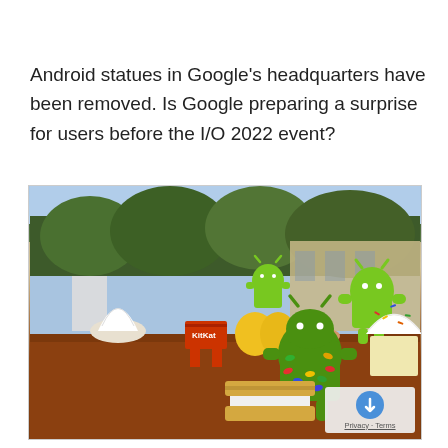Android statues in Google's headquarters have been removed. Is Google preparing a surprise for users before the I/O 2022 event?
[Figure (photo): Outdoor photo of multiple Android mascot statues at Google headquarters campus, including Jelly Bean, KitKat, Ice Cream Sandwich, Donut, and other dessert-themed Android version statues on a red bark ground with trees and building in background. A Google Maps watermark with Privacy and Terms links appears in the bottom-right corner.]